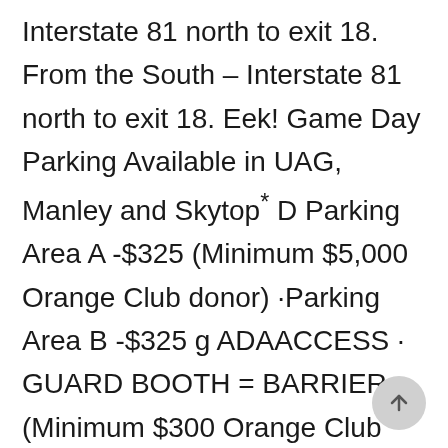Interstate 81 north to exit 18. From the South – Interstate 81 north to exit 18. Eek! Game Day Parking Available in UAG, Manley and Skytop* D Parking Area A -$325 (Minimum $5,000 Orange Club donor) ·Parking Area B -$325 g ADAACCESS · GUARD BOOTH = BARRIER (Minimum $300 Orange Club donor) ·Parking Area C -$275- ---ONE WAY ·Parking Area D -$200 ONLY SELECTEO BUILLUINGS ARE SHOWN. Mailing Address: Campus